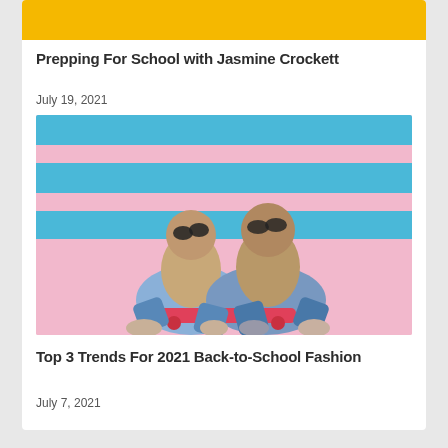Prepping For School with Jasmine Crockett
July 19, 2021
[Figure (photo): Two young girls wearing sunglasses and denim outfits sitting back-to-back on a pink skateboard against a colorful blue and pink striped background]
Top 3 Trends For 2021 Back-to-School Fashion
July 7, 2021